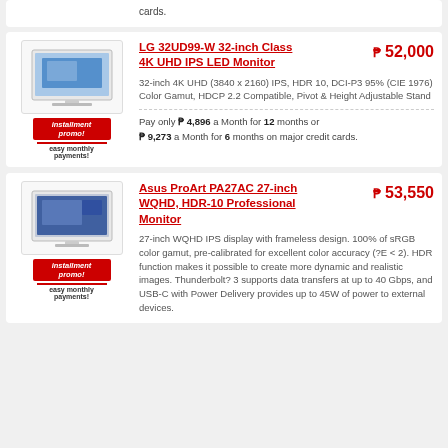cards.
LG 32UD99-W 32-inch Class 4K UHD IPS LED Monitor
₱ 52,000
32-inch 4K UHD (3840 x 2160) IPS, HDR 10, DCI-P3 95% (CIE 1976) Color Gamut, HDCP 2.2 Compatible, Pivot & Height Adjustable Stand
Pay only ₱ 4,896 a Month for 12 months or ₱ 9,273 a Month for 6 months on major credit cards.
Asus ProArt PA27AC 27-inch WQHD, HDR-10 Professional Monitor
₱ 53,550
27-inch WQHD IPS display with frameless design. 100% of sRGB color gamut, pre-calibrated for excellent color accuracy (?E < 2). HDR function makes it possible to create more dynamic and realistic images. Thunderbolt? 3 supports data transfers at up to 40 Gbps, and USB-C with Power Delivery provides up to 45W of power to external devices.